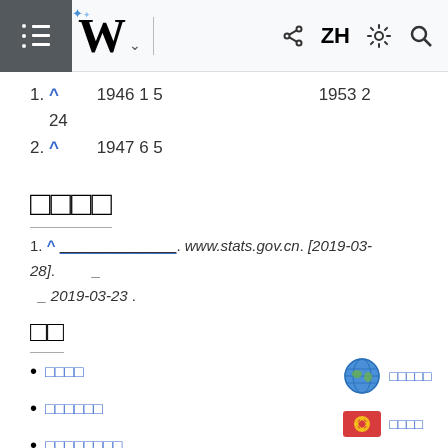Wikipedia mobile navigation bar with W logo, ZH, share, settings, search icons
1. ^ 1946 1 5 1953 2 24
2. ^ 1947 6 5
□□□□
1. ^ ____________. www.stats.gov.cn. [2019-03-28]. _ _ 2019-03-23 .
□□
□□□□
□□□□□□
□□□□□□□□
□□□□□
□□□□
□□□□□□